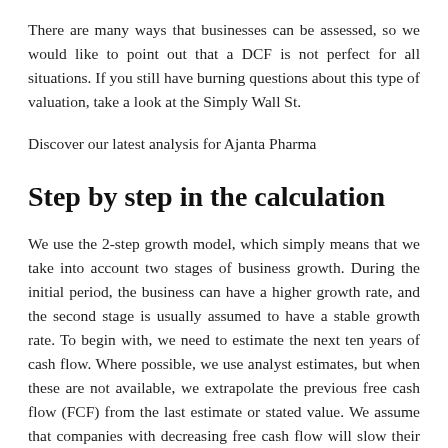There are many ways that businesses can be assessed, so we would like to point out that a DCF is not perfect for all situations. If you still have burning questions about this type of valuation, take a look at the Simply Wall St.
Discover our latest analysis for Ajanta Pharma
Step by step in the calculation
We use the 2-step growth model, which simply means that we take into account two stages of business growth. During the initial period, the business can have a higher growth rate, and the second stage is usually assumed to have a stable growth rate. To begin with, we need to estimate the next ten years of cash flow. Where possible, we use analyst estimates, but when these are not available, we extrapolate the previous free cash flow (FCF) from the last estimate or stated value. We assume that companies with decreasing free cash flow will slow their rate of contraction, and companies with increasing free cash